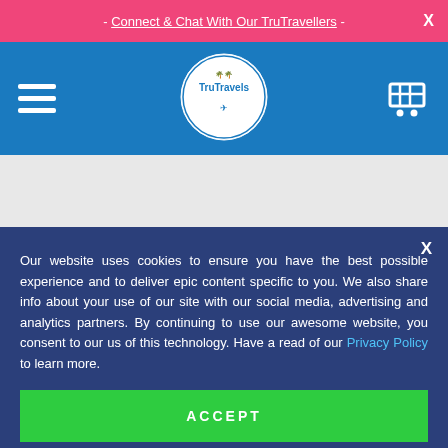- Connect & Chat With Our TruTravellers - X
[Figure (logo): TruTravels circular logo with palm trees on a blue navigation bar with hamburger menu and cart icon]
Our website uses cookies to ensure you have the best possible experience and to deliver epic content specific to you. We also share info about your use of our site with our social media, advertising and analytics partners. By continuing to use our awesome website, you consent to our us of this technology. Have a read of our Privacy Policy to learn more.
ACCEPT